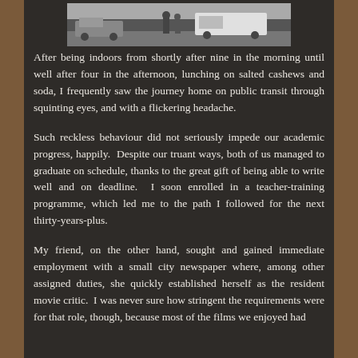[Figure (photo): Black and white photograph showing people near a white van on a street, partially visible at the top of the page.]
After being indoors from shortly after nine in the morning until well after four in the afternoon, lunching on salted cashews and soda, I frequently saw the journey home on public transit through squinting eyes, and with a flickering headache.
Such reckless behaviour did not seriously impede our academic progress, happily.  Despite our truant ways, both of us managed to graduate on schedule, thanks to the great gift of being able to write well and on deadline.  I soon enrolled in a teacher-training programme, which led me to the path I followed for the next thirty-years-plus.
My friend, on the other hand, sought and gained immediate employment with a small city newspaper where, among other assigned duties, she quickly established herself as the resident movie critic.  I was never sure how stringent the requirements were for that role, though, because most of the films we enjoyed had